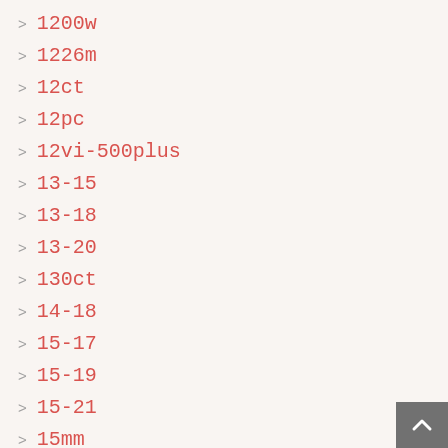1200w
1226m
12ct
12pc
12vi-500plus
13-15
13-18
13-20
130ct
14-18
15-17
15-19
15-21
15mm